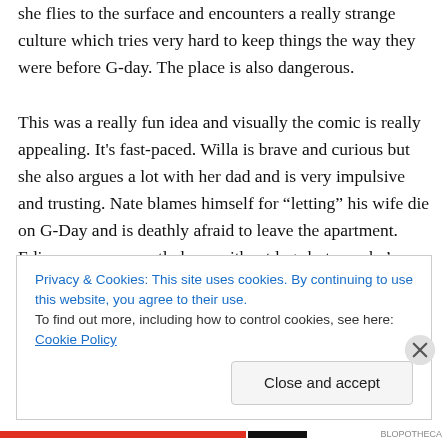she flies to the surface and encounters a really strange culture which tries very hard to keep things the way they were before G-day. The place is also dangerous.

This was a really fun idea and visually the comic is really appealing. It's fast-paced. Willa is brave and curious but she also argues a lot with her dad and is very impulsive and trusting. Nate blames himself for “letting” his wife die on G-Day and is deathly afraid to leave the apartment. Edison was apparently born without legs but now he’s able to fly just like everyone else. However, I didn’t care for the way Willa’s mom is killed off to have her dad scared of
Privacy & Cookies: This site uses cookies. By continuing to use this website, you agree to their use.
To find out more, including how to control cookies, see here: Cookie Policy